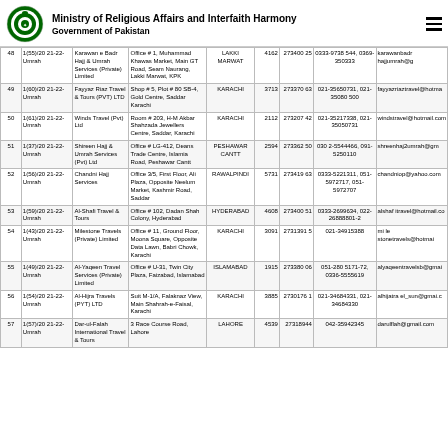Ministry of Religious Affairs and Interfaith Harmony
Government of Pakistan
| # | License No. | Company Name | Address | City | Seats | Reg No. | Phone | Email |
| --- | --- | --- | --- | --- | --- | --- | --- | --- |
| 48 | 1(55)/2021-22-Umrah | Karawan e Badr Hajj & Umrah Services (Private) Limited | Office # 1, Muhammad Khawas Market, Main GT Road, Seam Naurang, Lakki Marwat, KPK | LAKKI MARWAT | 4162 | 2734025 | 0333-9738544, 0369-350333 | karawanbadr hajjumrah@g |
| 49 | 1(60)/2021-22-Umrah | Fayyaz Riaz Travel & Tours (PVT) LTD | Shop # 5, Plot # 80 SB-4, Gold Centre, Saddar Karachi | KARACHI | 3713 | 2733706 3 | 0 21-3 5650731, 021-35080 500 | fayyazriaztravel@hotma |
| 50 | 1(61)/2021-22-Umrah | Winds Travel (Pvt) Ltd | Room # 203, H-M Akbar Shahzada Jewellers Centre, Saddar, Karachi | KARACHI | 2112 | 2732074 2 | 0 21-3 5217338, 021-35050731 | windstravel@hotmail.com |
| 51 | 1(37)/2021-22-Umrah | Shireen Hajj & Umrah Services (Pvt) Ltd | Office # LG-412, Deans Trade Centre, Islamia Road, Peshawar Cantt | PESHAWAR CANTT | 2594 | 2733625 0 | 030 2-5544466, 091-5250110 | shreenhaj2umrah@gm |
| 52 | 1(56)/2021-22-Umrah | Chandni Hajj Services | Office 3/5, First Floor, Ali Plaza, Opposite Neelum Market, Kashmir Road, Saddar | RAWALPINDI | 5731 | 2734196 3 | 0333-5221311, 051-5972717, 051-5972707 | chandniop@yahoo.com |
| 53 | 1(59)/2021-22-Umrah | Al-Shafi Travel & Tours | Office # 102, Dadan Shah Colony, Hyderabad | HYDERABAD | 4608 | 2734005 1 | 0333-2699634, 022-26888801-2 | alshaf itravel@hotmail.co |
| 54 | 1(43)/2021-22-Umrah | Milestone Travels (Private) Limited | Office # 11, Ground Floor, Moona Square, Opposite Data Lawn, Babri Chowk, Karachi | KARACHI | 3091 | 27313915 | 021-34915388 | mi le stonetravels@hotmai |
| 55 | 1(49)/2021-22-Umrah | Al-Yaqeen Travel Services (Private) Limited | Office # U-31, Twin City Plaza, Faizabad, Islamabad | ISLAMABAD | 1915 | 2733800 6 | 051-280 5171-72, 0336-5555619 | alyaqeentravelsb@gmai |
| 56 | 1(54)/2021-22-Umrah | Al-Hijra Travels (PYT) LTD | Suit M-1/A, Falaknaz View, Main Shahrah-e-Faisal, Karachi | KARACHI | 3885 | 27301761 | 0 21-34684331, 021-34684330 | alhijatra el_sun@gmai.c |
| 57 | 1(57)/2021-22-Umrah | Dar-ul-Falah International Travel & Tours | 3 Race Course Road, Lahore | LAHORE | 4539 | 27318944 | 042-35942345 | darulflah@gmail.com |